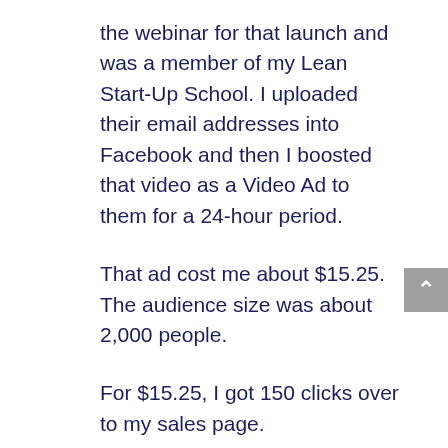the webinar for that launch and was a member of my Lean Start-Up School. I uploaded their email addresses into Facebook and then I boosted that video as a Video Ad to them for a 24-hour period.
That ad cost me about $15.25. The audience size was about 2,000 people.
For $15.25, I got 150 clicks over to my sales page.
It cost me hardly anything and I got these clicks over to the sales page.